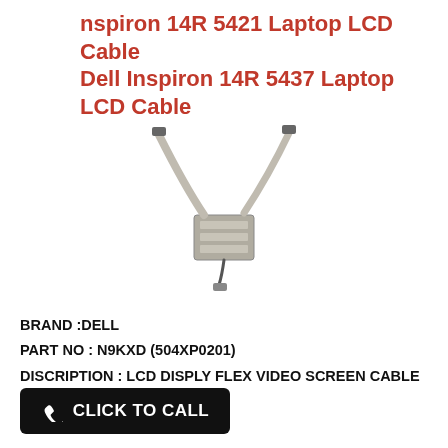nspiron 14R 5421 Laptop LCD Cable Dell Inspiron 14R 5437 Laptop LCD Cable
[Figure (photo): Laptop LCD flex video cable (Dell Inspiron 14R 5421/5437), gray ribbon cable with connectors on a white background]
BRAND :DELL
PART NO : N9KXD (504XP0201)
DISCRIPTION : LCD DISPLY FLEX VIDEO SCREEN CABLE
CLICK TO CALL